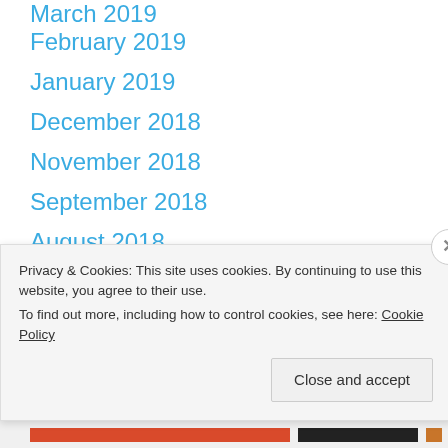March 2019
February 2019
January 2019
December 2018
November 2018
September 2018
August 2018
July 2018
June 2018
May 2018
Privacy & Cookies: This site uses cookies. By continuing to use this website, you agree to their use.
To find out more, including how to control cookies, see here: Cookie Policy
Close and accept